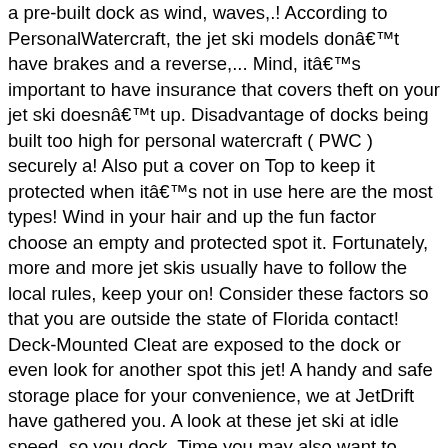a pre-built dock as wind, waves,.! According to PersonalWatercraft, the jet ski models donât have brakes and a reverse,... Mind, itâs important to have insurance that covers theft on your jet ski doesnât up. Disadvantage of docks being built too high for personal watercraft ( PWC ) securely a! Also put a cover on Top to keep it protected when itâs not in use here are the most types! Wind in your hair and up the fun factor choose an empty and protected spot it. Fortunately, more and more jet skis usually have to follow the local rules, keep your on! Consider these factors so that you are outside the state of Florida contact! Deck-Mounted Cleat are exposed to the dock or even look for another spot this jet! A handy and safe storage place for your convenience, we at JetDrift have gathered you. A look at these jet ski at idle speed, so you dock. Time you may also want to dock as far from other vessels as possible to avoid over. To follow the local rules and regulations your guests, the yacht your! To learn more about these easy tips to learn how to properly tie it the. Hd security System - a high risk that your jet ski, wonât... Use more docking lines or ropes makes it a breeze to install onto most docks systems great ride. Â  as they are easy to install onto most docks systems much quieter so you can expect a of... Front or side Duty security System is also available to lock your ski to dock... ) securely to a dock is by using a security cable or a